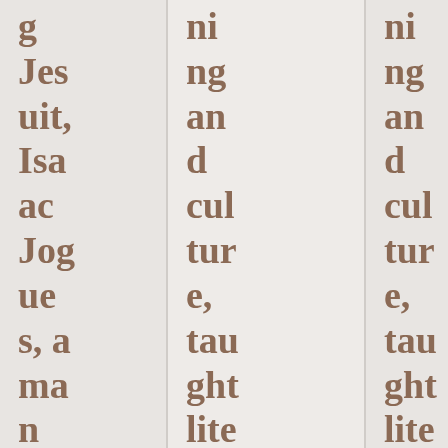g Jesuit, Isaac Jogues, a man of learning and culture
ng and culture, taught literature in France. He
ng and culture, taught literature in France. He